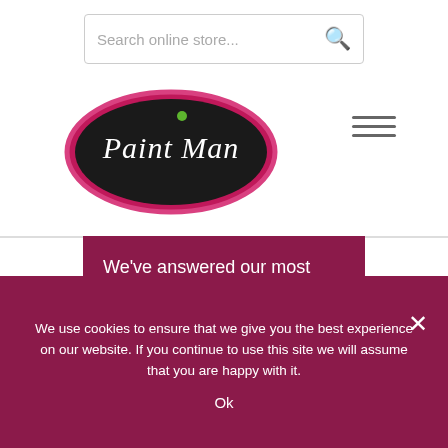[Figure (screenshot): Search bar with placeholder text 'Search online store...' and a search icon on the right]
[Figure (logo): Paint Man logo: oval shape with dark border, dark background, green dot above letter 'i', text 'Paint Man' in decorative script]
[Figure (other): Hamburger menu icon with three horizontal lines]
We've answered our most frequently asked questions to help with your enquiry.
We use cookies to ensure that we give you the best experience on our website. If you continue to use this site we will assume that you are happy with it.
Ok